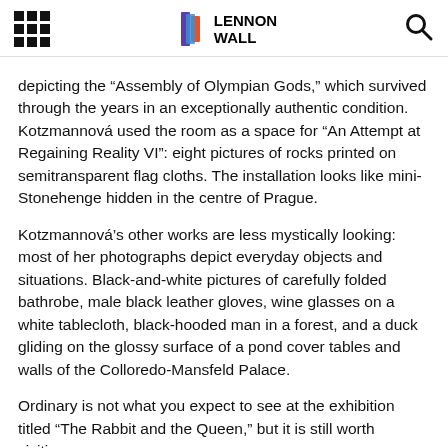Lennon Wall
depicting the “Assembly of Olympian Gods,” which survived through the years in an exceptionally authentic condition. Kotzmannová used the room as a space for “An Attempt at Regaining Reality VI”: eight pictures of rocks printed on semitransparent flag cloths. The installation looks like mini-Stonehenge hidden in the centre of Prague.
Kotzmannová’s other works are less mystically looking: most of her photographs depict everyday objects and situations. Black-and-white pictures of carefully folded bathrobe, male black leather gloves, wine glasses on a white tablecloth, black-hooded man in a forest, and a duck gliding on the glossy surface of a pond cover tables and walls of the Colloredo-Mansfeld Palace.
Ordinary is not what you expect to see at the exhibition titled “The Rabbit and the Queen,” but it is still worth visiting, even